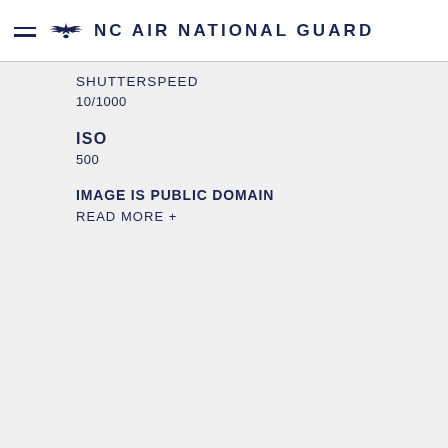NC AIR NATIONAL GUARD
SHUTTERSPEED
10/1000
ISO
500
IMAGE IS PUBLIC DOMAIN
READ MORE +